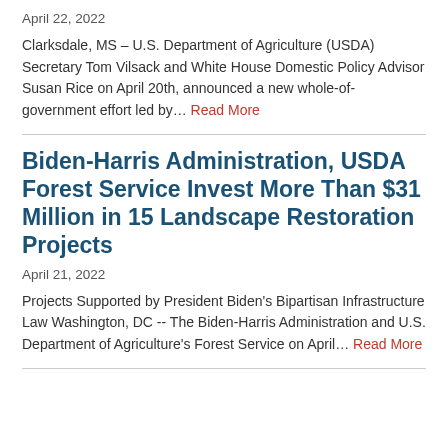April 22, 2022
Clarksdale, MS – U.S. Department of Agriculture (USDA) Secretary Tom Vilsack and White House Domestic Policy Advisor Susan Rice on April 20th, announced a new whole-of-government effort led by… Read More
Biden-Harris Administration, USDA Forest Service Invest More Than $31 Million in 15 Landscape Restoration Projects
April 21, 2022
Projects Supported by President Biden's Bipartisan Infrastructure Law Washington, DC -- The Biden-Harris Administration and U.S. Department of Agriculture's Forest Service on April… Read More